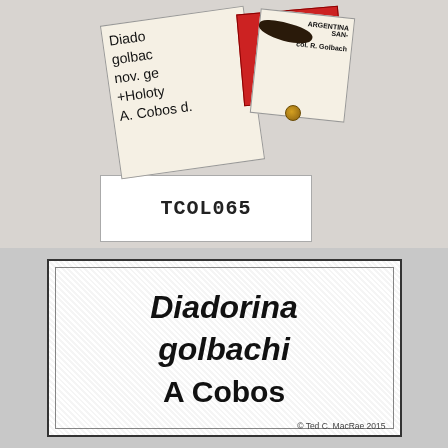[Figure (photo): Photograph of a pinned beetle specimen with multiple collection labels including a handwritten label reading 'Diadora golbachi nov. gen. +Holoty A. Cobos d.' and a red holotype label, an Argentina locality label, a beetle body on a pin, and a white card label reading 'TCOL065'.]
Diadorina golbachi A Cobos
© Ted C. MacRae 2015